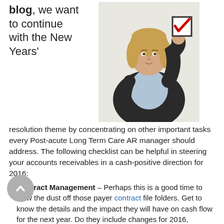blog, we want to continue with the New Years'
[Figure (photo): Woman in business suit holding up a checked checkbox, smiling]
resolution theme by concentrating on other important tasks every Post-acute Long Term Care AR manager should address. The following checklist can be helpful in steering your accounts receivables in a cash-positive direction for 2016:
Contract Management – Perhaps this is a good time to blow the dust off those payer contract file folders. Get to know the details and the impact they will have on cash flow for the next year. Do they include changes for 2016,